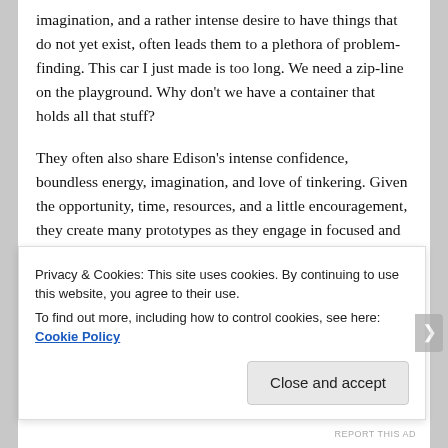imagination, and a rather intense desire to have things that do not yet exist, often leads them to a plethora of problem-finding. This car I just made is too long. We need a zip-line on the playground. Why don't we have a container that holds all that stuff?
They often also share Edison's intense confidence, boundless energy, imagination, and love of tinkering. Given the opportunity, time, resources, and a little encouragement, they create many prototypes as they engage in focused and determined problem-solving.
[Figure (photo): Partial image with blue-to-purple gradient background and a small brown/tan box shape visible in upper right area.]
Privacy & Cookies: This site uses cookies. By continuing to use this website, you agree to their use.
To find out more, including how to control cookies, see here: Cookie Policy
REPORT THIS AD